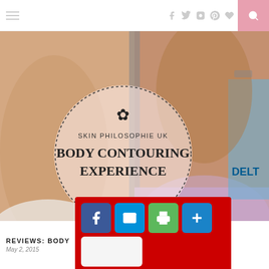Navigation bar with hamburger menu, social icons (Facebook, Twitter, Instagram, Pinterest, Heart, Google+, YouTube), and search button
[Figure (photo): Before/after body contouring treatment photo split vertically, overlaid with a dashed circle logo containing flower icon and text 'SKIN PHILOSOPHIE UK BODY CONTOURING EXPERIENCE']
REVIEWS: BODY ... UK BGC
May 2, 2015